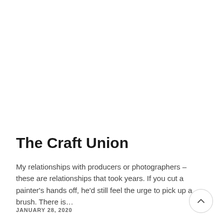The Craft Union
My relationships with producers or photographers – these are relationships that took years. If you cut a painter's hands off, he'd still feel the urge to pick up a brush. There is…
JANUARY 28, 2020